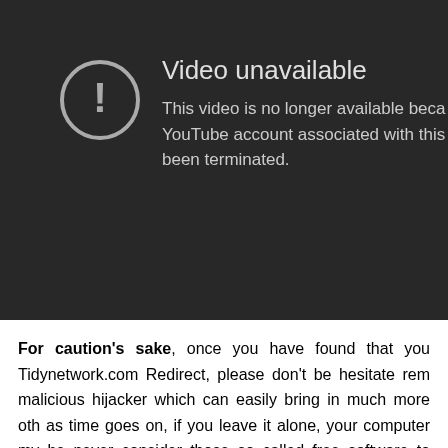[Figure (screenshot): YouTube 'Video unavailable' error screen on a dark background. Shows an exclamation mark in a circle icon, the title 'Video unavailable', and body text: 'This video is no longer available because the YouTube account associated with this video has been terminated.']
For caution's sake, once you have found that you Tidynetwork.com Redirect, please don't be hesitate remove malicious hijacker which can easily bring in much more other as time goes on, if you leave it alone, your computer my be never consider those so called free software to remove T